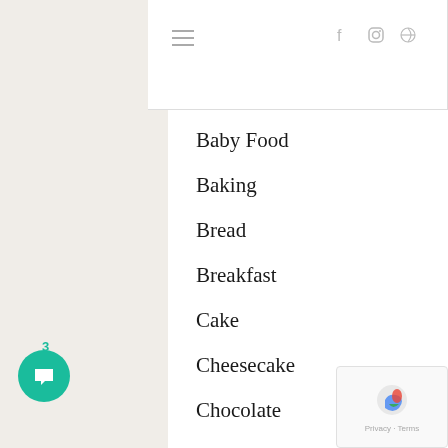Navigation header with hamburger menu and social icons (Facebook, Instagram, Pinterest)
Baby Food
Baking
Bread
Breakfast
Cake
Cheesecake
Chocolate
Christmas
Cleaning
Cookies
Craft
Cricut
Dessert
Drinks